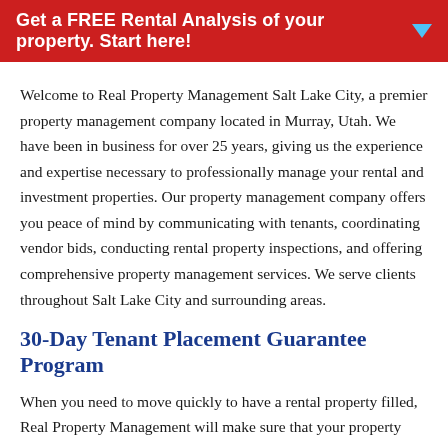Get a FREE Rental Analysis of your property. Start here!
Welcome to Real Property Management Salt Lake City, a premier property management company located in Murray, Utah. We have been in business for over 25 years, giving us the experience and expertise necessary to professionally manage your rental and investment properties. Our property management company offers you peace of mind by communicating with tenants, coordinating vendor bids, conducting rental property inspections, and offering comprehensive property management services. We serve clients throughout Salt Lake City and surrounding areas.
30-Day Tenant Placement Guarantee Program
When you need to move quickly to have a rental property filled, Real Property Management will make sure that your property will be occupied in 30 days or less through our 30-Day Tenant Placement Guarantee Program. We save our